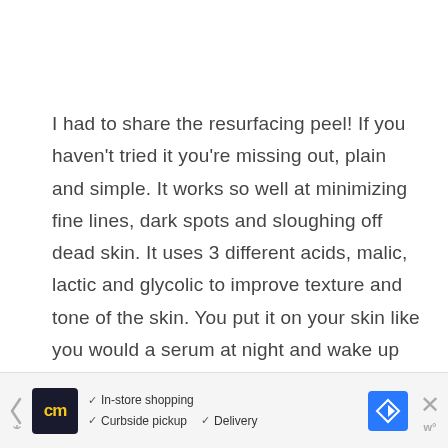I had to share the resurfacing peel!  If you haven't tried it you're missing out, plain and simple.  It works so well at minimizing fine lines, dark spots and sloughing off dead skin.  It uses 3 different acids, malic, lactic and glycolic to improve texture and tone of the skin.  You put it on your skin like you would a serum at night and wake up with skin that looks refreshed, smooth and glowing.  I'm not surprised this is a best
[Figure (infographic): Advertisement bar at bottom: left arrow toggle, 'cm' logo in dark background with yellow text, checkmarks for 'In-store shopping', 'Curbside pickup', 'Delivery', blue navigation/directions icon, and close X button with 'w°' watermark]